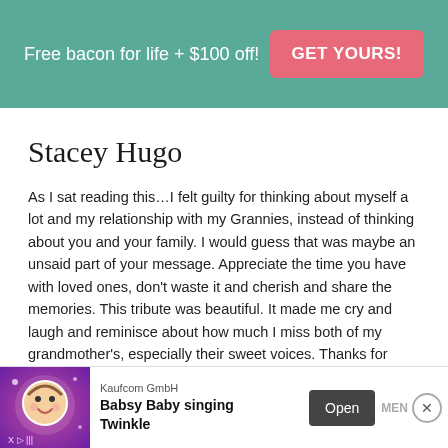Free bacon for life + $100 off! GET YOURS!
Stacey Hugo
As I sat reading this...I felt guilty for thinking about myself a lot and my relationship with my Grannies, instead of thinking about you and your family. I would guess that was maybe an unsaid part of your message. Appreciate the time you have with loved ones, don't waste it and cherish and share the memories. This tribute was beautiful. It made me cry and laugh and reminisce about how much I miss both of my grandmother's, especially their sweet voices. Thanks for sharing. I will now be thinking of you and your family. 😊
[Figure (screenshot): Advertisement banner for Kaufcom GmbH featuring Babsy Baby singing Twinkle app, with baby face graphic, Open button, and close button]